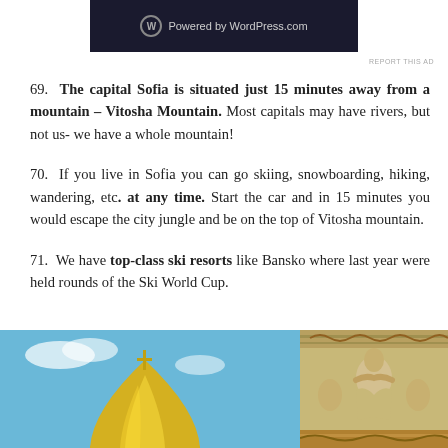[Figure (screenshot): Dark banner ad showing WordPress.com logo with text 'Powered by WordPress.com']
REPORT THIS AD
69. The capital Sofia is situated just 15 minutes away from a mountain – Vitosha Mountain. Most capitals may have rivers, but not us- we have a whole mountain!
70. If you live in Sofia you can go skiing, snowboarding, hiking, wandering, etc. at any time. Start the car and in 15 minutes you would escape the city jungle and be on the top of Vitosha mountain.
71. We have top-class ski resorts like Bansko where last year were held rounds of the Ski World Cup.
[Figure (photo): Two photos side by side: left shows a golden dome of a building against a blue sky with clouds; right shows ornate golden classical sculptural decoration on a building facade]